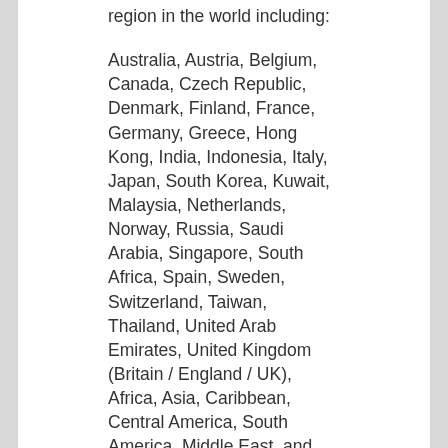region in the world including:
Australia, Austria, Belgium, Canada, Czech Republic, Denmark, Finland, France, Germany, Greece, Hong Kong, India, Indonesia, Italy, Japan, South Korea, Kuwait, Malaysia, Netherlands, Norway, Russia, Saudi Arabia, Singapore, South Africa, Spain, Sweden, Switzerland, Taiwan, Thailand, United Arab Emirates, United Kingdom (Britain / England / UK), Africa, Asia, Caribbean, Central America, South America, Middle East, and Europe.
Note that there are personal shopper services that can help you buy from any store, including Bellalike, even if they block or don't ship to foreign locations.